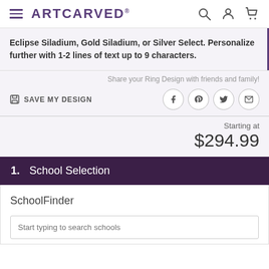ARTCARVED
Eclipse Siladium, Gold Siladium, or Silver Select. Personalize further with 1-2 lines of text up to 9 characters.
Share your Ring Design with friends and family!
SAVE MY DESIGN
Starting at $294.99
1.  School Selection
SchoolFinder
Start typing to search schools